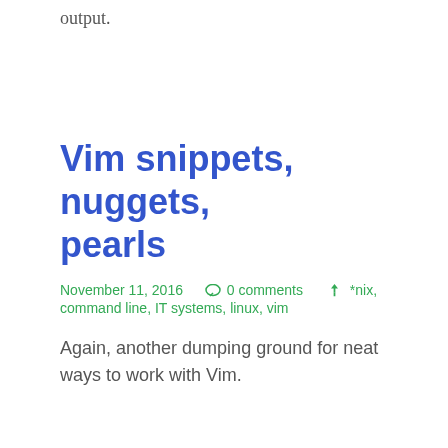output.
Vim snippets, nuggets, pearls
November 11, 2016   0 comments   *nix, command line, IT systems, linux, vim
Again, another dumping ground for neat ways to work with Vim.
To change two vertically split windows to